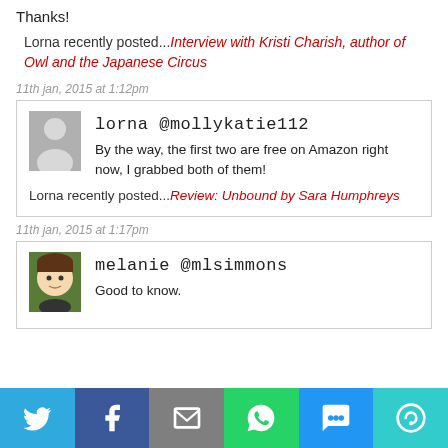Thanks!
Lorna recently posted...Interview with Kristi Charish, author of Owl and the Japanese Circus
11th jan, 2015 at 1:12pm
lorna @mollykatie112
By the way, the first two are free on Amazon right now, I grabbed both of them!
Lorna recently posted...Review: Unbound by Sara Humphreys
11th jan, 2015 at 1:17pm
melanie @mlsimmons
Good to know.